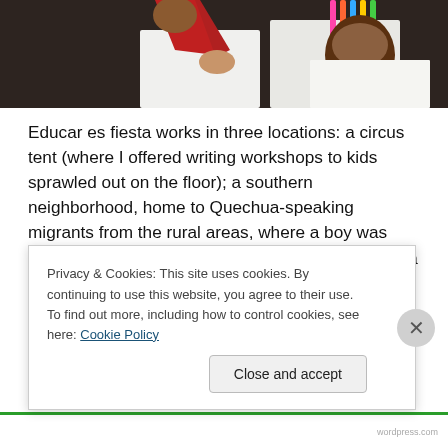[Figure (photo): Photo showing children at a table doing a writing activity, with colored pencils and white paper visible.]
Educar es fiesta works in three locations: a circus tent (where I offered writing workshops to kids sprawled out on the floor); a southern neighborhood, home to Quechua-speaking migrants from the rural areas, where a boy was proud to point out my home — Los Angeles — on a globe; Educar es fiesta had been invited to use the headquarters of the agricultural workers' union, but we were displaced when a middle school was — oops — suddenly
Privacy & Cookies: This site uses cookies. By continuing to use this website, you agree to their use.
To find out more, including how to control cookies, see here: Cookie Policy
Close and accept